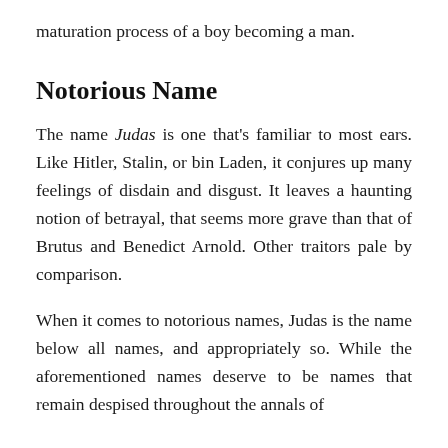maturation process of a boy becoming a man.
Notorious Name
The name Judas is one that's familiar to most ears. Like Hitler, Stalin, or bin Laden, it conjures up many feelings of disdain and disgust. It leaves a haunting notion of betrayal, that seems more grave than that of Brutus and Benedict Arnold. Other traitors pale by comparison.
When it comes to notorious names, Judas is the name below all names, and appropriately so. While the aforementioned names deserve to be names that remain despised throughout the annals of